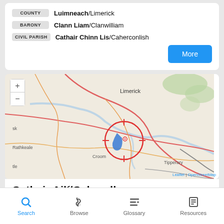COUNTY: Luimneach/Limerick
BARONY: Clann Liam/Clanwilliam
CIVIL PARISH: Cathair Chinn Lis/Caherconlish
[Figure (map): Interactive map showing location near Limerick, Ireland with a red circle marker indicating the townland of Cathair Ailí/Caherelly. Map shows towns: Limerick, Rathkeale, Croom, Tipperary. Attribution: Leaflet | OpenStreetMap.]
Cathair Ailí/Caherelly
Search | Browse | Glossary | Resources